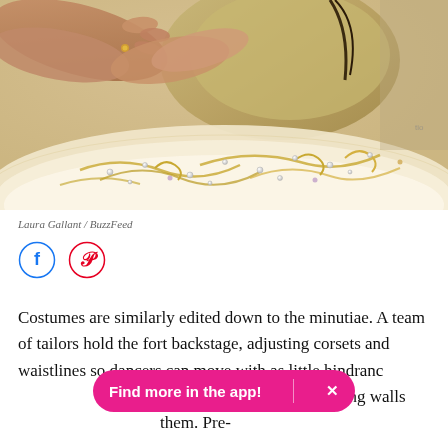[Figure (photo): Close-up of hands adjusting the back of an ornate ballet tutu costume with gold swirls and pearl/gem embellishments]
Laura Gallant / BuzzFeed
[Figure (infographic): Social media share buttons: Facebook (blue circle) and Pinterest (red circle)]
Costumes are similarly edited down to the minutiae. A team of tailors hold the fort backstage, adjusting corsets and waistlines so dancers can move with as little hindrance as possible, without the costumes themselves creating walls between the dancers and the audience around them. Pre-
[Figure (infographic): Pink pill-shaped app download banner reading 'Find more in the app!' with an X close button]